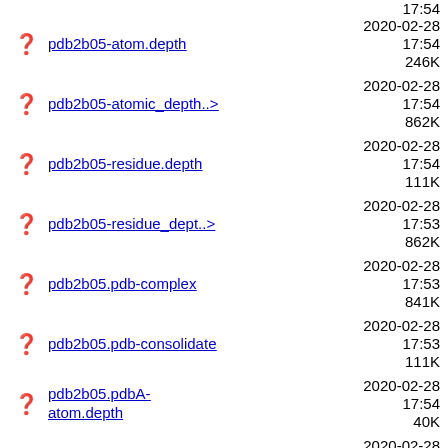17:54 (partial top)
pdb2b05-atom.depth  2020-02-28 17:54  246K
pdb2b05-atomic_depth..>  2020-02-28 17:54  862K
pdb2b05-residue.depth  2020-02-28 17:54  111K
pdb2b05-residue_dept..>  2020-02-28 17:53  862K
pdb2b05.pdb-complex  2020-02-28 17:53  841K
pdb2b05.pdb-consolidate  2020-02-28 17:53  111K
pdb2b05.pdbA-atom.depth  2020-02-28 17:54  40K
pdb2b05.pdbA-atomic_..>  2020-02-28 17:53  144K
pdb2b05.pdbA-residue..>  2020-02-28 17:53  144K
pdb2b05.pdbB-atom.depth  2020-02-28 17:53  41K
pdb2b05.pdbB-atomic_..>  2020-02-28 17:53  143K